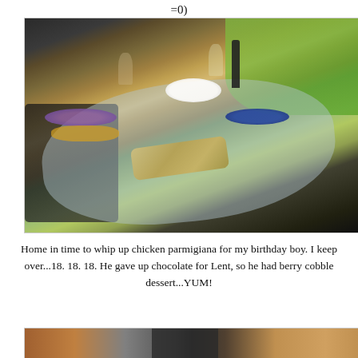=0)
[Figure (photo): Outdoor patio table set for a meal with plates, food platters, salad bowl, wine glasses, and a bottle of wine. Green garden in background.]
Home in time to whip up chicken parmigiana for my birthday boy. I keep over...18. 18. 18. He gave up chocolate for Lent, so he had berry cobble dessert...YUM!
[Figure (photo): Partially visible photo at bottom of page showing an outdoor scene with a door or gate.]